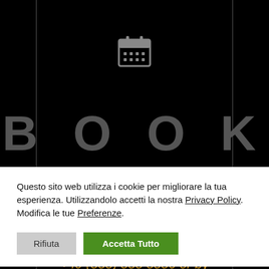[Figure (screenshot): Calendar icon in gray on black background]
BOOK
Questo sito web utilizza i cookie per migliorare la tua esperienza. Utilizzandolo accetti la nostra Privacy Policy. Modifica le tue Preferenze.
Rifiuta | Accetta Tutto
if you find no book, you can contact us by phone +49 (555) 555 5556 or by e-mail.